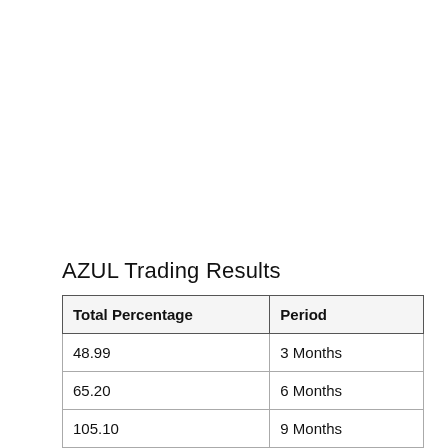AZUL Trading Results
| Total Percentage | Period |
| --- | --- |
| 48.99 | 3 Months |
| 65.20 | 6 Months |
| 105.10 | 9 Months |
| 0.00 | YTD Months |
| 92.25 | 12 Months |